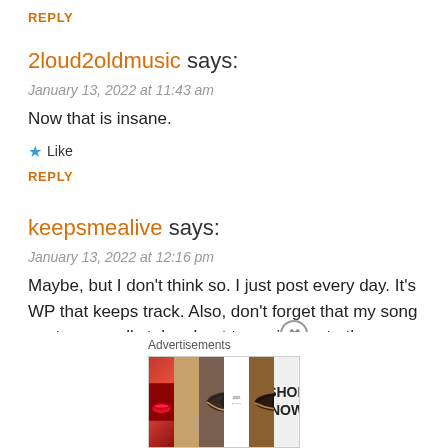REPLY
2loud2oldmusic says:
January 13, 2022 at 11:43 am
Now that is insane.
★ Like
REPLY
keepsmealive says:
January 13, 2022 at 12:16 pm
Maybe, but I don't think so. I just post every day. It's WP that keeps track. Also, don't forget that my song posts generally take about two minutes to throw together. I am not doing in-
[Figure (advertisement): Ulta Beauty advertisement banner with makeup imagery including lips, brush, eye, Ulta logo, eye closeup, and SHOP NOW text]
Advertisements